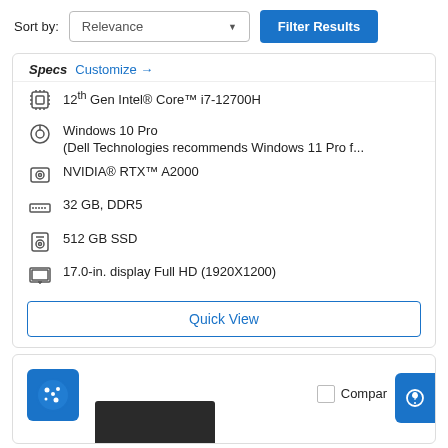Sort by:
Relevance (dropdown)
Filter Results
Specs  Customize →
12th Gen Intel® Core™ i7-12700H
Windows 10 Pro (Dell Technologies recommends Windows 11 Pro f...
NVIDIA® RTX™ A2000
32 GB, DDR5
512 GB SSD
17.0-in. display Full HD (1920X1200)
Quick View
Compare